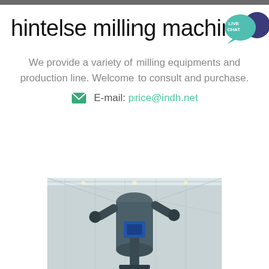hintelse milling machine
We provide a variety of milling equipments and production line. Welcome to consult and purchase.
E-mail: price@indh.net
[Figure (photo): Industrial milling machine equipment inside a factory warehouse with large steel cylindrical components visible under a metal roof structure]